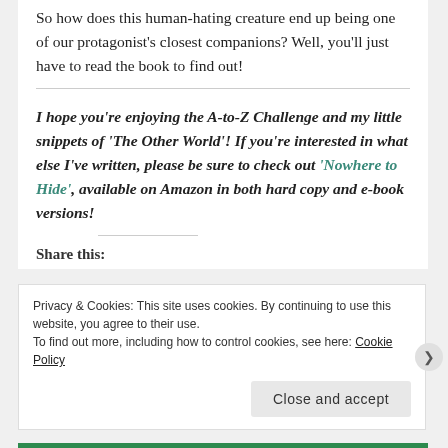So how does this human-hating creature end up being one of our protagonist's closest companions? Well, you'll just have to read the book to find out!
I hope you're enjoying the A-to-Z Challenge and my little snippets of 'The Other World'! If you're interested in what else I've written, please be sure to check out 'Nowhere to Hide', available on Amazon in both hard copy and e-book versions!
Share this:
Privacy & Cookies: This site uses cookies. By continuing to use this website, you agree to their use.
To find out more, including how to control cookies, see here: Cookie Policy
Close and accept